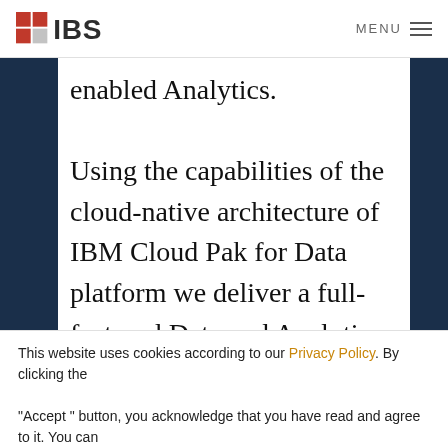[Figure (logo): IBS company logo with red grid icon and 'IBS' text in dark gray]
MENU ≡
enabled Analytics.

Using the capabilities of the cloud-native architecture of IBM Cloud Pak for Data platform we deliver a full-featured Data and Analytics solution that combines key capabilities as hybrid data management, unified
This website uses cookies according to our Privacy Policy. By clicking the "Accept" button, you acknowledge that you have read and agree to it. You can